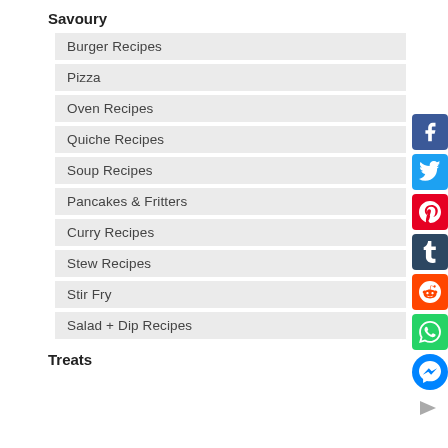Savoury
Burger Recipes
Pizza
Oven Recipes
Quiche Recipes
Soup Recipes
Pancakes & Fritters
Curry Recipes
Stew Recipes
Stir Fry
Salad + Dip Recipes
[Figure (infographic): Social media share buttons sidebar: Facebook, Twitter, Pinterest, Tumblr, Reddit, WhatsApp, Messenger, and a forward/share arrow]
Treats